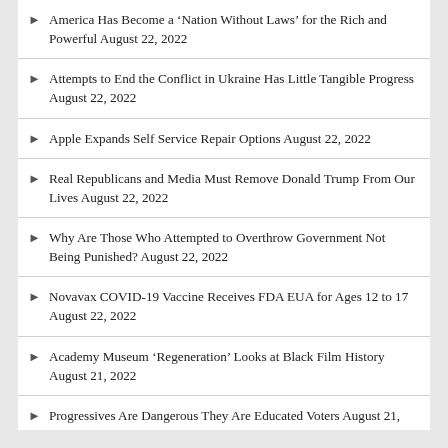America Has Become a ‘Nation Without Laws’ for the Rich and Powerful August 22, 2022
Attempts to End the Conflict in Ukraine Has Little Tangible Progress August 22, 2022
Apple Expands Self Service Repair Options August 22, 2022
Real Republicans and Media Must Remove Donald Trump From Our Lives August 22, 2022
Why Are Those Who Attempted to Overthrow Government Not Being Punished? August 22, 2022
Novavax COVID-19 Vaccine Receives FDA EUA for Ages 12 to 17 August 22, 2022
Academy Museum ‘Regeneration’ Looks at Black Film History August 21, 2022
Progressives Are Dangerous They Are Educated Voters August 21, 2022